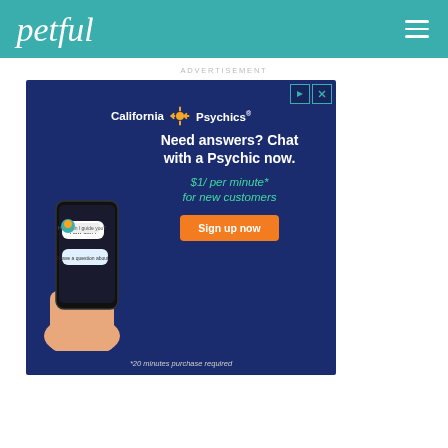petful
ADVERTISEMENT
[Figure (illustration): California Psychics advertisement banner on dark blue background. Shows a hand holding a smartphone with chat bubbles, text 'Need answers? Chat with a Psychic now.', '$1/ per minute* for new customers', 'Sign up now' button, '*20 minutes purchase required' fine print. Ad icons (play and X) in top right corner.]